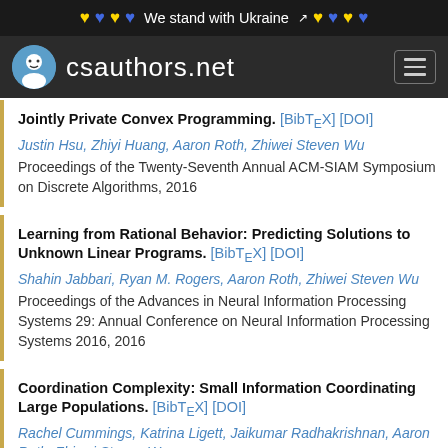We stand with Ukraine 🔗
csauthors.net
Jointly Private Convex Programming. [BibTeX] [DOI]
Justin Hsu, Zhiyi Huang, Aaron Roth, Zhiwei Steven Wu
Proceedings of the Twenty-Seventh Annual ACM-SIAM Symposium on Discrete Algorithms, 2016
Learning from Rational Behavior: Predicting Solutions to Unknown Linear Programs. [BibTeX] [DOI]
Shahin Jabbari, Ryan M. Rogers, Aaron Roth, Zhiwei Steven Wu
Proceedings of the Advances in Neural Information Processing Systems 29: Annual Conference on Neural Information Processing Systems 2016, 2016
Coordination Complexity: Small Information Coordinating Large Populations. [BibTeX] [DOI]
Rachel Cummings, Katrina Ligett, Jaikumar Radhakrishnan, Aaron Roth, Zhiwei Steven Wu
Proceedings of the 2016 ACM Conference on Innovations in Theoretical Computer Science, 2016